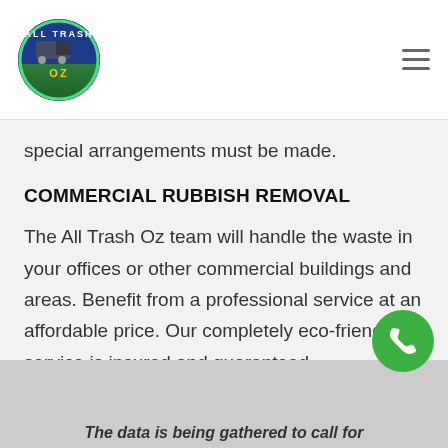[Figure (logo): All Trash Oz circular logo with truck graphic, blue and green colors]
special arrangements must be made.
COMMERCIAL RUBBISH REMOVAL
The All Trash Oz team will handle the waste in your offices or other commercial buildings and areas. Benefit from a professional service at an affordable price. Our completely eco-friendly service is insured and guaranteed.
The data is being gathered to call for